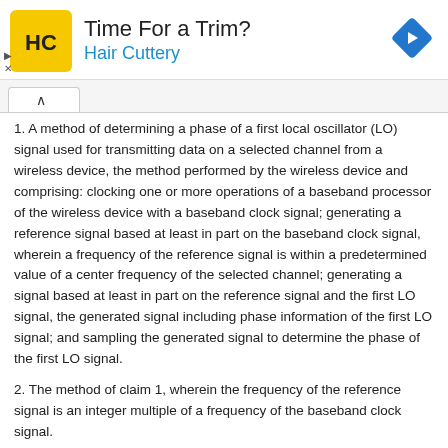[Figure (other): Advertisement banner for Hair Cuttery with logo, text 'Time For a Trim? Hair Cuttery', and a blue navigation diamond icon on the right. Small play and close controls on the left.]
1. A method of determining a phase of a first local oscillator (LO) signal used for transmitting data on a selected channel from a wireless device, the method performed by the wireless device and comprising: clocking one or more operations of a baseband processor of the wireless device with a baseband clock signal; generating a reference signal based at least in part on the baseband clock signal, wherein a frequency of the reference signal is within a predetermined value of a center frequency of the selected channel; generating a signal based at least in part on the reference signal and the first LO signal, the generated signal including phase information of the first LO signal; and sampling the generated signal to determine the phase of the first LO signal.
2. The method of claim 1, wherein the frequency of the reference signal is an integer multiple of a frequency of the baseband clock signal.
3. The method of claim 1, further comprising: transmitting the determined phase of the first LO signal to another device.